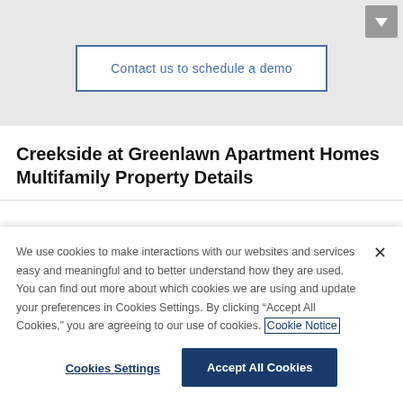[Figure (other): Download arrow button in gray square, top right corner]
Contact us to schedule a demo
Creekside at Greenlawn Apartment Homes Multifamily Property Details
We use cookies to make interactions with our websites and services easy and meaningful and to better understand how they are used. You can find out more about which cookies we are using and update your preferences in Cookies Settings. By clicking "Accept All Cookies," you are agreeing to our use of cookies. Cookie Notice
Cookies Settings
Accept All Cookies